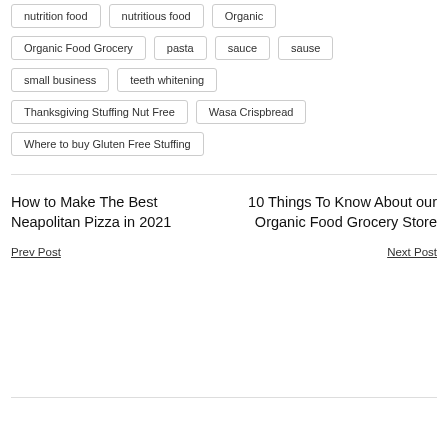nutrition food
nutritious food
Organic
Organic Food Grocery
pasta
sauce
sause
small business
teeth whitening
Thanksgiving Stuffing Nut Free
Wasa Crispbread
Where to buy Gluten Free Stuffing
How to Make The Best Neapolitan Pizza in 2021
Prev Post
10 Things To Know About our Organic Food Grocery Store
Next Post